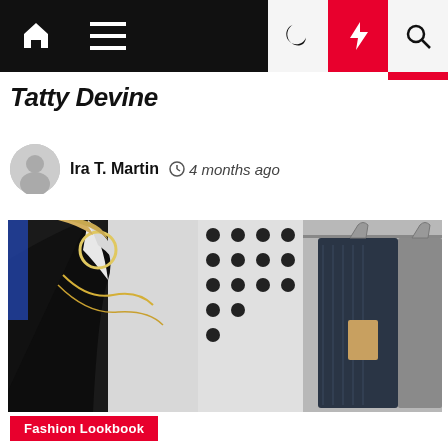Navigation bar with home, menu, moon, bolt, and search icons
Tatty Devine
Ira T. Martin  4 months ago
[Figure (photo): Woman wearing large hoop earrings, gold chain necklace, black blazer over white collared shirt, browsing clothes on a rack in a fashion boutique]
Fashion Lookbook